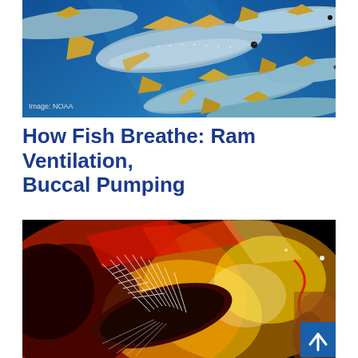[Figure (photo): Underwater photo of a school of yellowfin tuna swimming in blue water, viewed from below/side. Image credit: NOAA shown in lower left corner.]
How Fish Breathe: Ram Ventilation, Buccal Pumping
[Figure (photo): High-contrast false-color or thermal image of a lionfish with spiny fins spread out, shown against a dark black background with red, yellow, orange and white coloration. A scroll-to-top button appears in the bottom-right corner.]